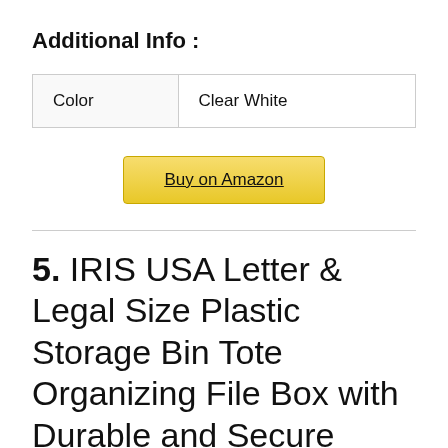Additional Info :
| Color | Clear White |
| --- | --- |
| Color | Clear White |
Buy on Amazon
5. IRIS USA Letter & Legal Size Plastic Storage Bin Tote Organizing File Box with Durable and Secure Latching Lid, Stackable